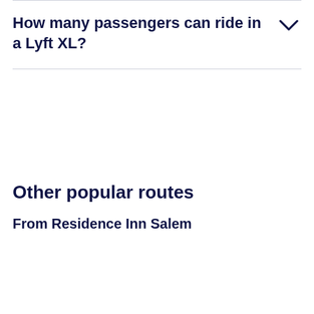How many passengers can ride in a Lyft XL?
Other popular routes
From Residence Inn Salem